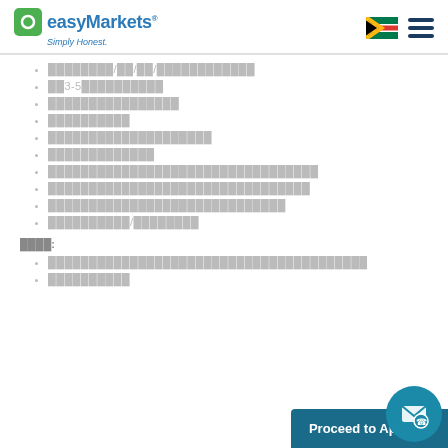easyMarkets Simply Honest.
████████/██/██/████████████
██3-5██████████
████████████████
██████████
████████████████████
█████████████
█████████████████████████████████
████████████████████████████████
█████████████████████████████
██████████/████████
████:
███████████████████████████████████████
██████████